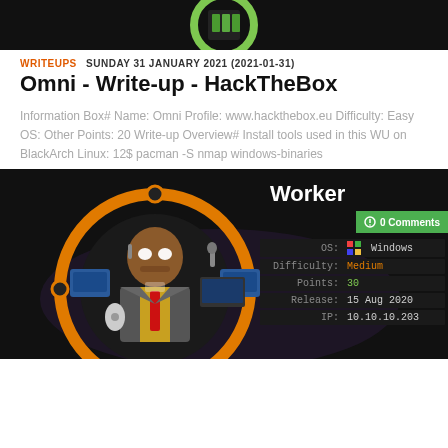[Figure (illustration): Top banner image with green circular logo on dark background]
WRITEUPS  SUNDAY 31 JANUARY 2021 (2021-01-31)
Omni - Write-up - HackTheBox
Information Box# Name: Omni Profile: www.hackthebox.eu Difficulty: Easy OS: Other Points: 20 Write-up Overview# Install tools used in this WU on BlackArch Linux: 12$ pacman -S nmap windows-binaries
[Figure (illustration): Dark-themed box info card showing a robot/android character with orange ring frame. On the right: Worker title, 0 Comments badge, OS: Windows, Difficulty: Medium, Points: 30, Release: 15 Aug 2020, IP: 10.10.10.203]